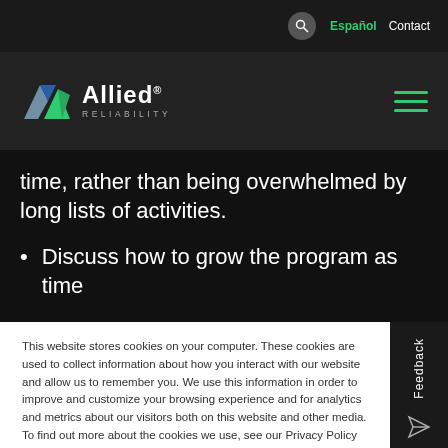Español  Contact
[Figure (logo): Allied Reliability logo with blue/green arrow icon and white text]
time, rather than being overwhelmed by long lists of activities.
Discuss how to grow the program as time
This website stores cookies on your computer. These cookies are used to collect information about how you interact with our website and allow us to remember you. We use this information in order to improve and customize your browsing experience and for analytics and metrics about our visitors both on this website and other media. To find out more about the cookies we use, see our Privacy Policy
Accept
Feedback